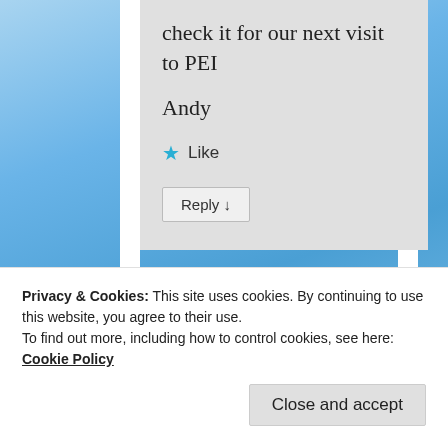check it for our next visit to PEI
Andy
★ Like
Reply ↓
Privacy & Cookies: This site uses cookies. By continuing to use this website, you agree to their use.
To find out more, including how to control cookies, see here: Cookie Policy
Close and accept